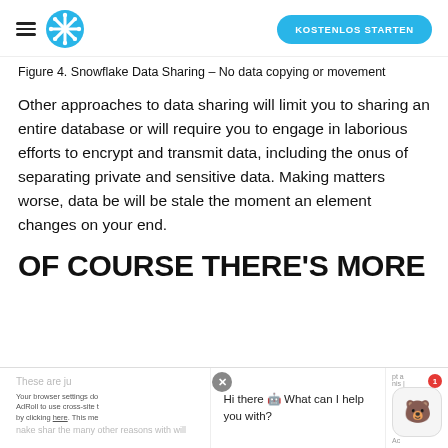Snowflake — KOSTENLOS STARTEN
Figure 4. Snowflake Data Sharing – No data copying or movement
Other approaches to data sharing will limit you to sharing an entire database or will require you to engage in laborious efforts to encrypt and transmit data, including the onus of separating private and sensitive data. Making matters worse, data be will be stale the moment an element changes on your end.
OF COURSE THERE'S MORE
Hi there 🤖 What can I help you with?
Your browser settings do AdRoll to use cross-site t by clicking here. This me